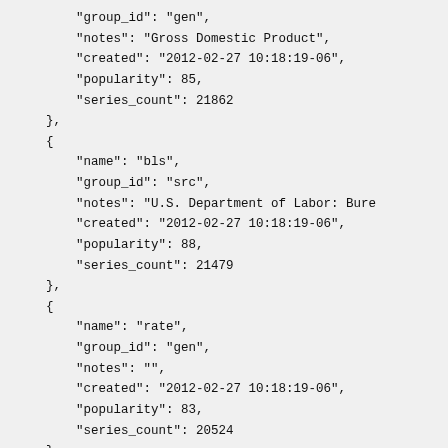"group_id": "gen",
"notes": "Gross Domestic Product",
"created": "2012-02-27 10:18:19-06",
"popularity": 85,
"series_count": 21862
},
{
    "name": "bls",
    "group_id": "src",
    "notes": "U.S. Department of Labor: Bure
    "created": "2012-02-27 10:18:19-06",
    "popularity": 88,
    "series_count": 21479
},
{
    "name": "rate",
    "group_id": "gen",
    "notes": "",
    "created": "2012-02-27 10:18:19-06",
    "popularity": 83,
    "series_count": 20524
},
{
    "name": "labor force",